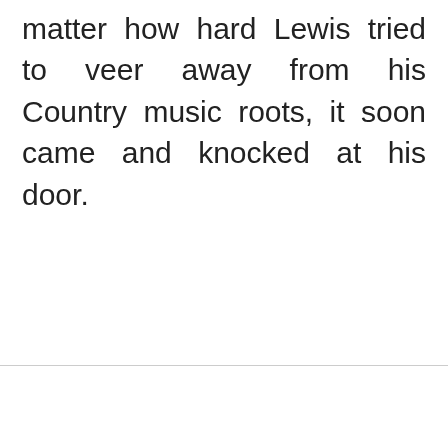matter how hard Lewis tried to veer away from his Country music roots, it soon came and knocked at his door.
Country Music, Aaron Lewis, State I'r…